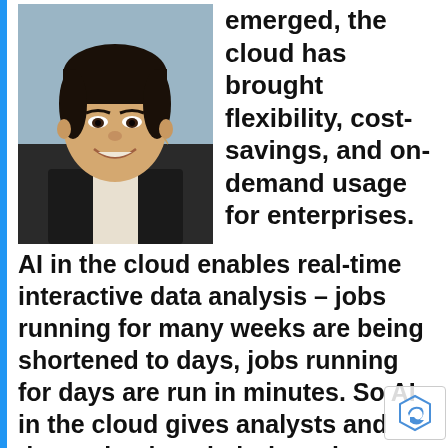[Figure (photo): Headshot photo of a smiling Asian man wearing a suit and a small earpiece microphone, with a blurred background.]
emerged, the cloud has brought flexibility, cost-savings, and on-demand usage for enterprises.
AI in the cloud enables real-time interactive data analysis – jobs running for many weeks are being shortened to days, jobs running for days are run in minutes. So AI in the cloud gives analysts and data scientists their data cheaper and on-demand, enabling th to generate business-critical data